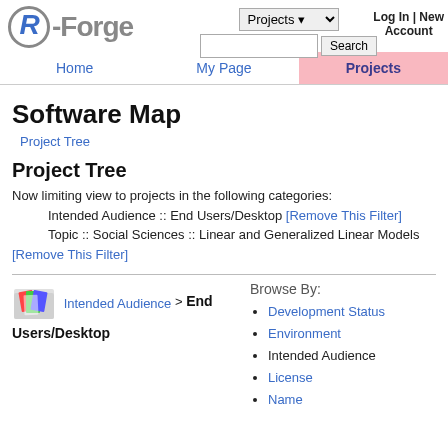R-Forge | Projects | Search | Log In | New Account
Home | My Page | Projects
Software Map
Project Tree
Project Tree
Now limiting view to projects in the following categories:
    Intended Audience :: End Users/Desktop [Remove This Filter]
    Topic :: Social Sciences :: Linear and Generalized Linear Models [Remove This Filter]
Intended Audience > End Users/Desktop
Browse By:
Development Status
Environment
Intended Audience
License
Name